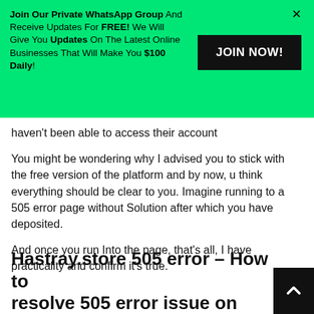[Figure (infographic): Green banner advertisement: 'Join Our Private WhatsApp Group And Receive Updates For FREE! We Will Give You Updates On The Latest Online Businesses That Will Make You $100 Daily!' with a black JOIN NOW! button and an X close button.]
haven't been able to access their account
You might be wondering why I advised you to stick with the free version of the platform and by now, u think everything should be clear to you. Imagine running to a 505 error page without Solution after which you have deposited.
And once you run Into the page, that's all, I have practicality and confirm it's true.
Hastray.store 505 error – How to resolve 505 error issue on